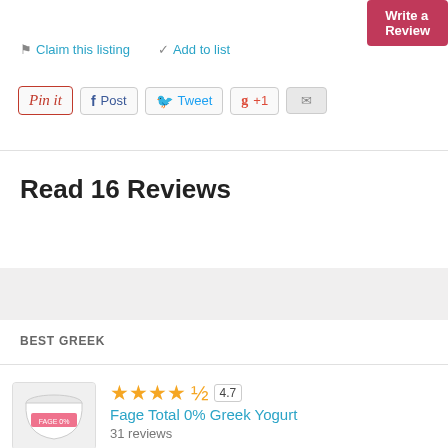Write a Review
🏴 Claim this listing   ✓ Add to list
[Figure (screenshot): Social sharing buttons: Pin it, Post, Tweet, +1, email]
Read 16 Reviews
BEST GREEK
[Figure (photo): Fage Total 0% Greek Yogurt container image]
Fage Total 0% Greek Yogurt
4.7 — 31 reviews